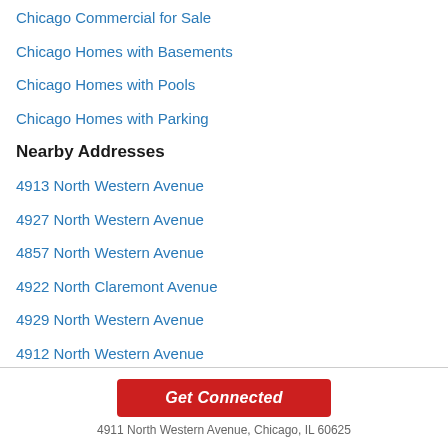Chicago Commercial for Sale
Chicago Homes with Basements
Chicago Homes with Pools
Chicago Homes with Parking
Nearby Addresses
4913 North Western Avenue
4927 North Western Avenue
4857 North Western Avenue
4922 North Claremont Avenue
4929 North Western Avenue
4912 North Western Avenue
4855 North Western Avenue
Get Connected
4911 North Western Avenue, Chicago, IL 60625